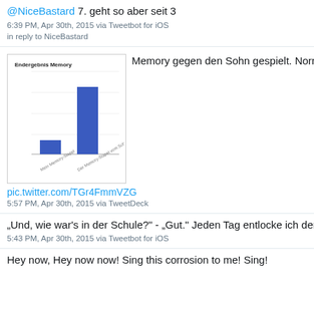@NiceBastard 7. geht so aber seit 3
6:39 PM, Apr 30th, 2015 via Tweetbot for iOS
in reply to NiceBastard
[Figure (bar-chart): Endergebnis Memory]
Memory gegen den Sohn gespielt. Normal.
pic.twitter.com/TGr4FmmVZG
5:57 PM, Apr 30th, 2015 via TweetDeck
„Und, wie war’s in der Schule?“ - „Gut.“ Jeden Tag entlocke ich dem Sohn neue, aufregende Details.
5:43 PM, Apr 30th, 2015 via Tweetbot for iOS
Hey now, Hey now now! Sing this corrosion to me! Sing!
January 2022  629
December 2021  459
November 2021  784
October 2021  836
September 2021  923
August 2021  342
July 2021  210
June 2021  212
May 2021  194
April 2021  17
March 2021  689
February 2021  543